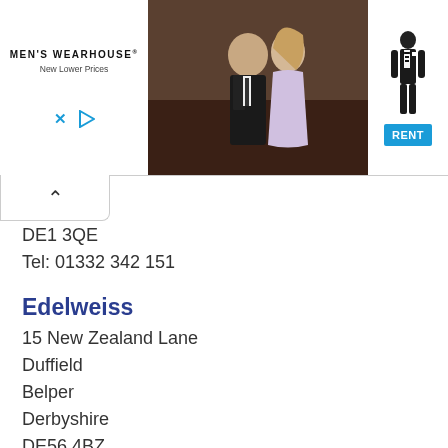[Figure (screenshot): Men's Wearhouse advertisement banner with couple in formal wear and tuxedo rental button]
DE1 3QE
Tel: 01332 342 151
Edelweiss
15 New Zealand Lane
Duffield
Belper
Derbyshire
DE56 4BZ
Tel: 01332 842 398
Eden Skincare & Beauty Salon
71 Maplewell Road
Woodhouse Eaves